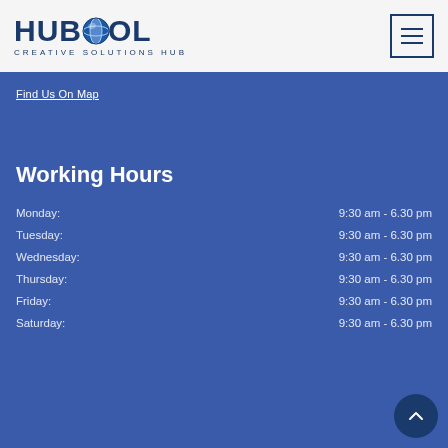[Figure (logo): HUBSOL Creative Solutions Hub logo with globe icon]
Find Us On Map
Working Hours
| Day | Hours |
| --- | --- |
| Monday: | 9:30 am - 6.30 pm |
| Tuesday: | 9:30 am - 6.30 pm |
| Wednesday: | 9:30 am - 6.30 pm |
| Thursday: | 9:30 am - 6.30 pm |
| Friday: | 9:30 am - 6.30 pm |
| Saturday: | 9:30 am - 6.30 pm |